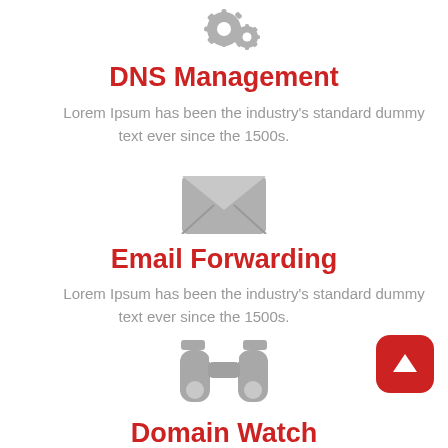[Figure (illustration): Gray gear/settings icon at top of page]
DNS Management
Lorem Ipsum has been the industry's standard dummy text ever since the 1500s.
[Figure (illustration): Gray envelope/email icon]
Email Forwarding
Lorem Ipsum has been the industry's standard dummy text ever since the 1500s.
[Figure (illustration): Gray binoculars icon]
Domain Watch
[Figure (illustration): Red rounded square button with white up-arrow]